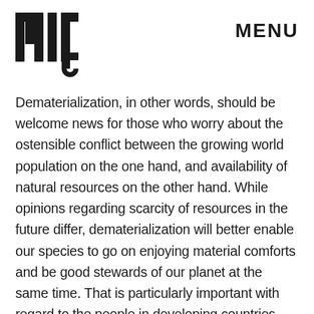[Figure (logo): MIC logo in bold block letters]
MENU
Dematerialization, in other words, should be welcome news for those who worry about the ostensible conflict between the growing world population on the one hand, and availability of natural resources on the other hand. While opinions regarding scarcity of resources in the future differ, dematerialization will better enable our species to go on enjoying material comforts and be good stewards of our planet at the same time. That is particularly important with regard to the people in developing countries, who ought to have a chance to experience material plenty in an age